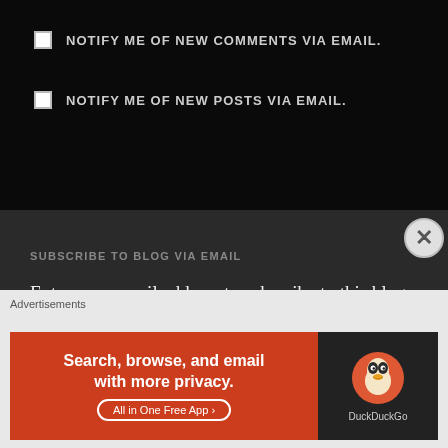NOTIFY ME OF NEW COMMENTS VIA EMAIL.
NOTIFY ME OF NEW POSTS VIA EMAIL.
SUBSCRIBE TO BLOG VIA EMAIL
Enter your email address to subscribe to this blog and receive notifications of new posts by email.
[Figure (screenshot): Advertisement banner for DuckDuckGo: 'Search, browse, and email with more privacy. All in One Free App' on orange background with DuckDuckGo logo on dark background.]